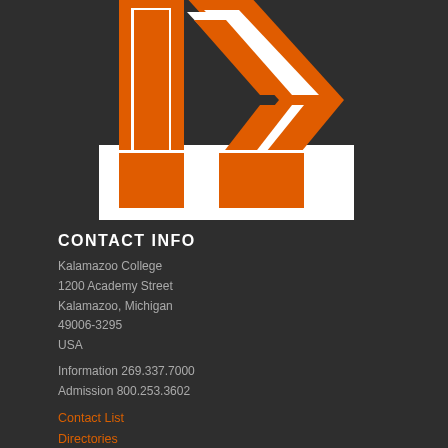[Figure (logo): Kalamazoo College large orange K logo on dark background]
CONTACT INFO
Kalamazoo College
1200 Academy Street
Kalamazoo, Michigan
49006-3295
USA
Information 269.337.7000
Admission 800.253.3602
Contact List
Directories
Search this site
Sitemap
Map and Directions
Academic Calendars
Employment